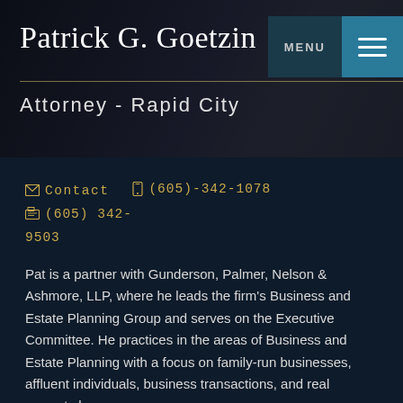[Figure (screenshot): Header banner with dark background showing attorney name and navigation menu with hamburger icon]
Patrick G. Goetzin
Attorney - Rapid City
Contact  (605)-342-1078  (605) 342-9503
Pat is a partner with Gunderson, Palmer, Nelson & Ashmore, LLP, where he leads the firm's Business and Estate Planning Group and serves on the Executive Committee. He practices in the areas of Business and Estate Planning with a focus on family-run businesses, affluent individuals, business transactions, and real property law.